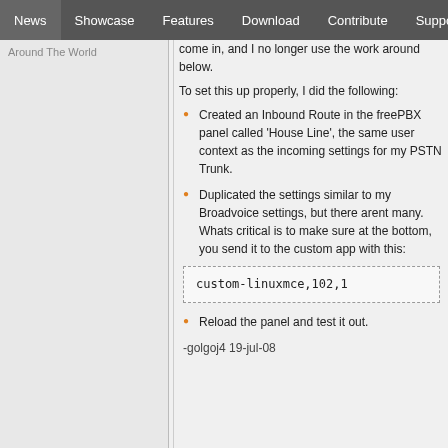News | Showcase | Features | Download | Contribute | Support
Around The World
come in, and I no longer use the work around below.
To set this up properly, I did the following:
Created an Inbound Route in the freePBX panel called 'House Line', the same user context as the incoming settings for my PSTN Trunk.
Duplicated the settings similar to my Broadvoice settings, but there arent many. Whats critical is to make sure at the bottom, you send it to the custom app with this:
Reload the panel and test it out.
-golgoj4 19-jul-08